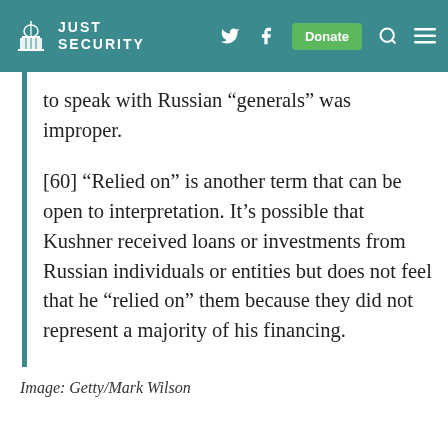JUST SECURITY
to speak with Russian “generals” was improper.
[60] “Relied on” is another term that can be open to interpretation. It’s possible that Kushner received loans or investments from Russian individuals or entities but does not feel that he “relied on” them because they did not represent a majority of his financing.
Image: Getty/Mark Wilson